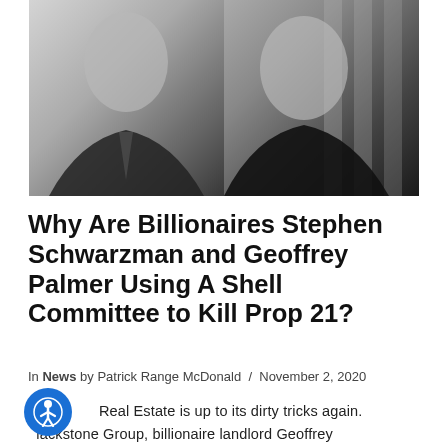[Figure (photo): Two black and white photos side by side: left shows an older man in a suit and tie, right shows a smiling man in a dark suit against a classical column background.]
Why Are Billionaires Stephen Schwarzman and Geoffrey Palmer Using A Shell Committee to Kill Prop 21?
In News by Patrick Range McDonald / November 2, 2020
Real Estate is up to its dirty tricks again. Blackstone Group, billionaire landlord Geoffrey